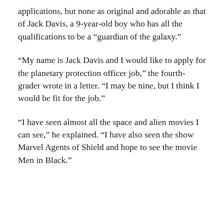applications, but none as original and adorable as that of Jack Davis, a 9-year-old boy who has all the qualifications to be a “guardian of the galaxy.”
“My name is Jack Davis and I would like to apply for the planetary protection officer job,” the fourth-grader wrote in a letter. “I may be nine, but I think I would be fit for the job.”
“I have seen almost all the space and alien movies I can see,” he explained. “I have also seen the show Marvel Agents of Shield and hope to see the movie Men in Black.”